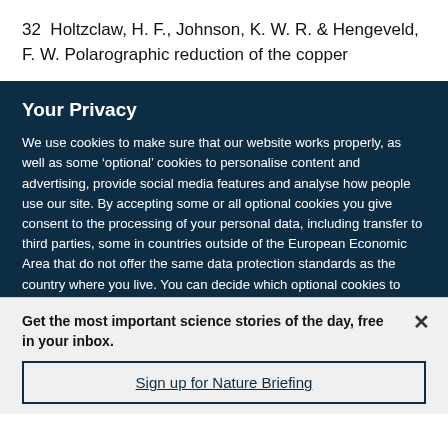32  Holtzclaw, H. F., Johnson, K. W. R. & Hengeveld, F. W. Polarographic reduction of the copper
Your Privacy
We use cookies to make sure that our website works properly, as well as some ‘optional’ cookies to personalise content and advertising, provide social media features and analyse how people use our site. By accepting some or all optional cookies you give consent to the processing of your personal data, including transfer to third parties, some in countries outside of the European Economic Area that do not offer the same data protection standards as the country where you live. You can decide which optional cookies to accept by clicking on ‘Manage Settings’, where you can
Get the most important science stories of the day, free in your inbox.
Sign up for Nature Briefing